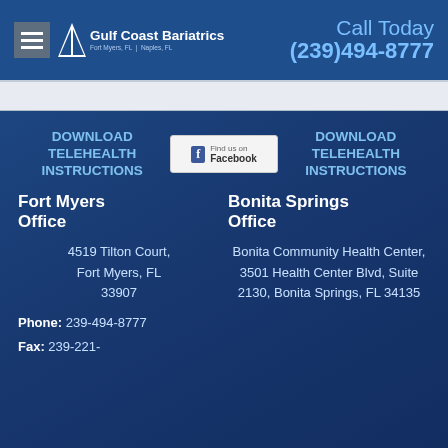Gulf Coast Bariatrics | Fort Myers, FL | Naples, FL | Call Today (239)494-8777
DOWNLOAD TELEHEALTH INSTRUCTIONS
[Figure (logo): Facebook logo button with 'Find us' text]
DOWNLOAD TELEHEALTH INSTRUCTIONS
Fort Myers Office
Bonita Springs Office
4519 Tilton Court, Fort Myers, FL 33907
Bonita Community Health Center, 3501 Health Center Blvd, Suite 2130, Bonita Springs, FL 34135
Phone: 239-494-8777
Fax: 239-221-